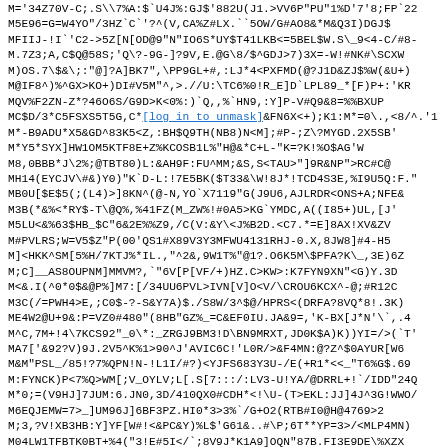M='34Z70V-C;.S\7%A:$`U4J%:GJ$'882U(J1.>VV6P"PU"1%D'7'8;FP`22
M5E96=G=W4YO"/3HZ`C`'?^(V,CA%Z#LX.``5OW/G#AO8&*M&Q3I)DGJ$
MFIIJ-!I`'C2->5Z[N[OD@9"N"IO6S*UY$T41LKB<=5BEL$W.S\_9<4-C/#8-
M.7Z3;A,C$Q@58S;'Q\?-9G-]?9V,E.@G\8/$^GDJ>7)3X=-W!#NK#\SCXW
M)OS.7\$&\;:"@]?A]BK7",\PP9GL+#,:LJ*4<PXFMD(@?J1D&ZJ$%W(&U+)
M@IF8^)%^GX>KO+)DI#V5M"^,>.//U:\TC6%0!R_E]D`LPL89_*[F)P+:'KR
MQV%F2ZN-Z*?46O6S/G9D>K<0%:)`Q,,% `HN9,:Y]P-V#Q9&8=%%BXUP
MC$D/3*C5FSXS5T5G,C*[log in to unmask]&FN6X<+);K1:M*=0\.,<8/^.'1
M*-B9ADU*X5&GD^83K5<Z,:BH$Q9TH(NB8)N<M];#P-;Z\?MYGD.2X5SB'
M*Y5*SYX]HW1OM5KTF8E+Z%KCOSB1L%"H@&*C+L-"K=?K!%O$AG'W
M8,0BBB*J\2%;@TBT80)L:&AH9F:FU^MM;&S,S<TAU>"]9R&NP">RC#C@
MH14(EYCJV\#&)Y0)"K`D-L:!7E5BK($T33&\W!8J*!TCD4S3E,%I9U5Q:F."
MB0U[$E$5(;(L4)>]8KN^(@-N,YO`X7119"G(J9U6,AJLRDR<ONS+A;NFE&
M3B(*&%<*RY$-T\@Q%,%41FZ(M_ZW%!#0A5>KG`YMDC,A((I85+)UL,[J'
M5LU<&%63$HB_$C"6&2E%%Z9,/C(V:&Y\<J%B2D.<C7.*=E]8AX!XV&ZV
M#PVLRS;W=V5$Z"P(00'QS1#X89V3Y3MFWU4131RHJ-0.X,8JW8]#4-H5
M]<HKK^SM[5%H/7KTJ%*IL.,"^2&,9W1T%"@1?.O6K5M\$PFA?K\_,3E)6Z
M;C]__AS8OUPNM]MMVM?,`"6V[P[VF/+)HZ.C>KW>:K7FYN9XN"<G)Y.3D
M<&.I(^0*0$&@P%]M7:[/34UU6PVL>IVN[V]O<V/\CROU6KCX^-@;#R12C
M3C(/=PWH4>E,;C0$-?-S&Y7A)$./S8W/3^$@/HPRS<(DRFA?8VQ*8!.3K)
ME4W2@U+9&:P=VZ0#480"(8HB"GZ%_=C&EF0IU.JA&9=,'K-BX[J*N'\`,.4
M^C,7M+!4\7KCS92"_0\*:_ZRGJ9BM3!D\BN9MRXT,JD0K$A)K))YI=/>(`T'
MA7['&92?V)9J.2V5^K%1>90^J'AVIC6C!'L0R/>&F4MN:@?Z^$0AYUR[W6
M&M"PSL_/85!?7%QPN!N-!L1I/#?)<YJFS683Y3U-/E(+R1*<<_"T6%G$.69
M:FYNCK)P<7%Q>WM[;V_OYLV;L[.S[7:::/:LV3-U!YA/@DRRL+!`/IDD"24Q
M*0;=(V9HJ]7JUM:6.JN0,3D/410QX0#CDH*<!\U-(T>EKL:JJ]4J^3G!WWO/
M6EQJEMW=7>_]UM96J]6BF3PZ.HI0*3>3%`/G+O2(RTB#I0@H@4769>2
M;3,?V!XB3HB:Y]YF[W#!<&PC&Y)%L$'G61&..#\P;6T**YP=3>/<MLP4MN)
M04LW1TFBTK0BT+%4("3!E#5I</`;8V9J*K1A9]OQN"87B.FI3E9DE\%XZX
MP\"5'A<F+4+4!1H5C(QC8_E=9&1,M194S\O=8G69"6*K0*J81!:6J:+4!YWD